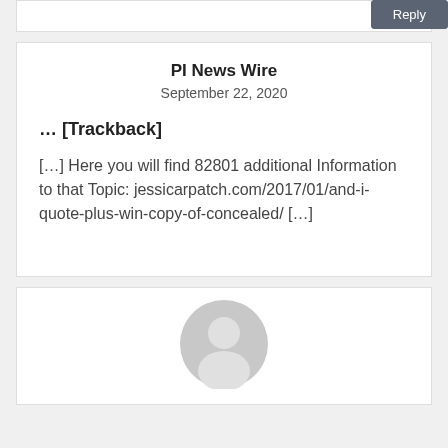Reply
PI News Wire
September 22, 2020
... [Trackback]
[...] Here you will find 82801 additional Information to that Topic: jessicarpatch.com/2017/01/and-i-quote-plus-win-copy-of-concealed/ [...]
Reply
[Figure (illustration): Gray circular user avatar icon with person silhouette]